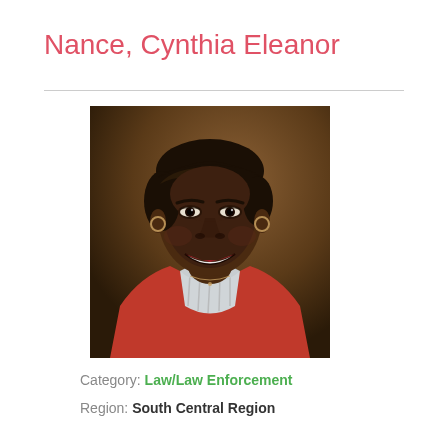Nance, Cynthia Eleanor
[Figure (photo): Professional headshot of Cynthia Eleanor Nance, an African-American woman smiling, wearing a red blazer over a striped shirt, with short dark hair, against a brown background.]
Category:  Law/Law Enforcement
Region:  South Central Region